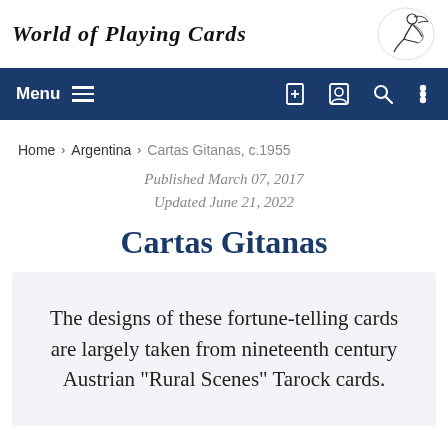World of Playing Cards
[Figure (logo): World of Playing Cards logo with stylized figure illustration]
Menu
Home › Argentina › Cartas Gitanas, c.1955
Published March 07, 2017
Updated June 21, 2022
Cartas Gitanas
The designs of these fortune-telling cards are largely taken from nineteenth century Austrian "Rural Scenes" Tarock cards.